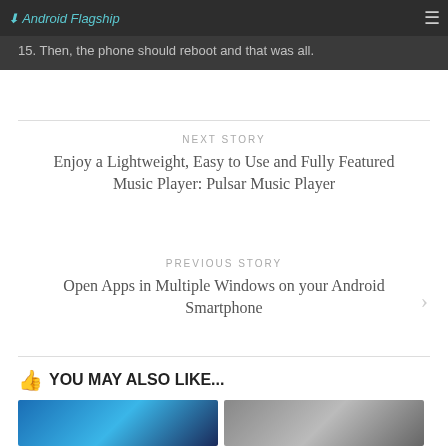Android Flagship
15. Then, the phone should reboot and that was all.
NEXT STORY
Enjoy a Lightweight, Easy to Use and Fully Featured Music Player: Pulsar Music Player
PREVIOUS STORY
Open Apps in Multiple Windows on your Android Smartphone
YOU MAY ALSO LIKE...
[Figure (photo): Blue colored smartphone photo thumbnail]
[Figure (photo): Gray colored photo thumbnail]